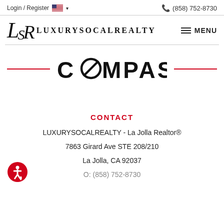Login / Register  (858) 752-8730
[Figure (logo): LuxurySoCalRealty logo with stylized LSR initials and wordmark LUXURYSOCALREALTY]
[Figure (logo): COMPASS logo centered with red decorative lines on either side]
CONTACT
LUXURYSOCALREALTY - La Jolla Realtor®
7863 Girard Ave STE 208/210
La Jolla, CA 92037
(858) 752-8730